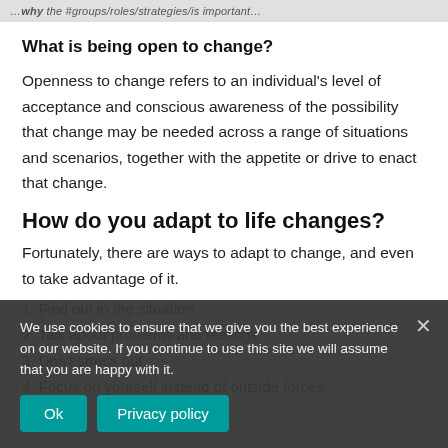…why the #groups/roles/strategies/is important…
What is being open to change?
Openness to change refers to an individual's level of acceptance and conscious awareness of the possibility that change may be needed across a range of situations and scenarios, together with the appetite or drive to enact that change.
How do you adapt to life changes?
Fortunately, there are ways to adapt to change, and even to take advantage of it.
1. Find out in the situation.
2. Talk about problems and feelings.
3. Don't stress out.
4. Focus on yourself instead of outside forces.
We use cookies to ensure that we give you the best experience on our website. If you continue to use this site we will assume that you are happy with it.